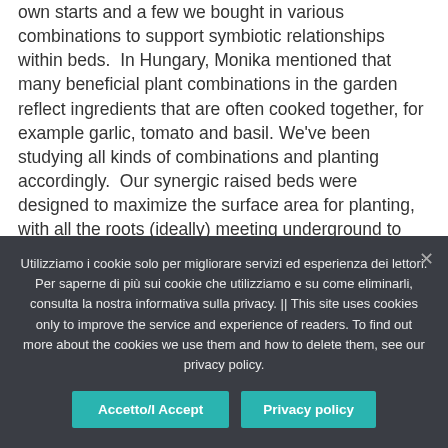own starts and a few we bought in various combinations to support symbiotic relationships within beds. In Hungary, Monika mentioned that many beneficial plant combinations in the garden reflect ingredients that are often cooked together, for example garlic, tomato and basil. We've been studying all kinds of combinations and planting accordingly. Our synergic raised beds were designed to maximize the surface area for planting, with all the roots (ideally) meeting underground to support pest resistance, nitrogen fixing and disease prevention. We also planted herbs and flowers at the ends of beds, like
Utilizziamo i cookie solo per migliorare servizi ed esperienza dei lettori. Per saperne di più sui cookie che utilizziamo e su come eliminarli, consulta la nostra informativa sulla privacy. || This site uses cookies only to improve the service and experience of readers. To find out more about the cookies we use them and how to delete them, see our privacy policy.